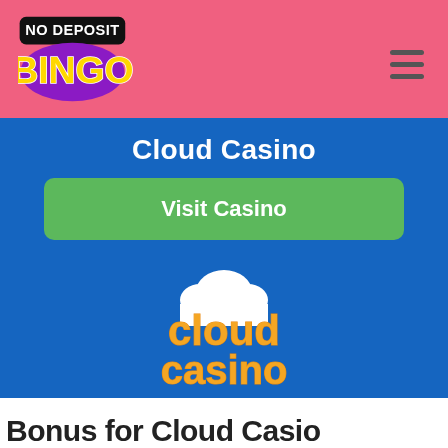[Figure (logo): No Deposit Bingo logo on pink header background with hamburger menu icon]
Cloud Casino
Visit Casino
[Figure (logo): Cloud Casino logo with cloud graphic and gold text on blue background]
Bonus for Cloud Casino